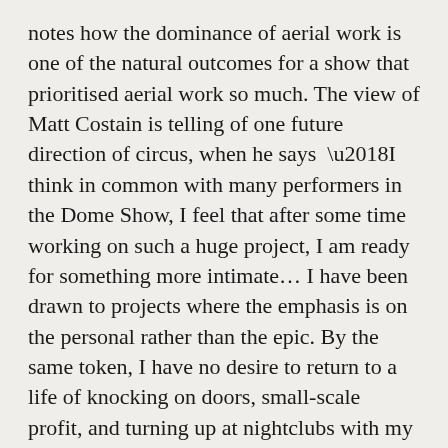notes how the dominance of aerial work is one of the natural outcomes for a show that prioritised aerial work so much. The view of Matt Costain is telling of one future direction of circus, when he says ‘I think in common with many performers in the Dome Show, I feel that after some time working on such a huge project, I am ready for something more intimate… I have been drawn to projects where the emphasis is on the personal rather than the epic. By the same token, I have no desire to return to a life of knocking on doors, small-scale profit, and turning up at nightclubs with my trapeze on my shoulder, looking for fifty quid and all the beer I can drink.’
Another outcome of the Dome show is the way that circus started to bleed into large venues’ work, most